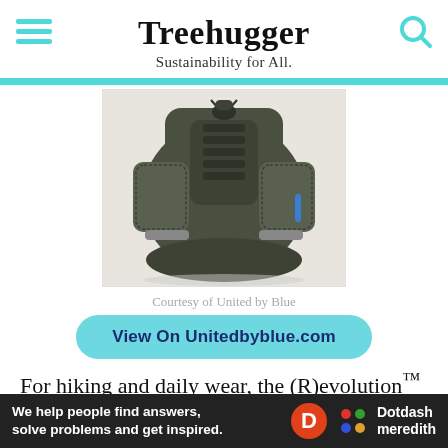Treehugger — Sustainability for All.
[Figure (photo): Olive/dark green military-style backpack with mesh side pockets, front straps and buckles, shot from the front on a white background]
Courtesy of United by Blue
View On Unitedbyblue.com
For hiking and daily wear, the (R)evolution™ 22L Trek Pack by United by Blue is the way to go. The pack is made from recycled plastic bottles and is 100 percent
Ad  We help people find answers, solve problems and get inspired. Dotdash meredith